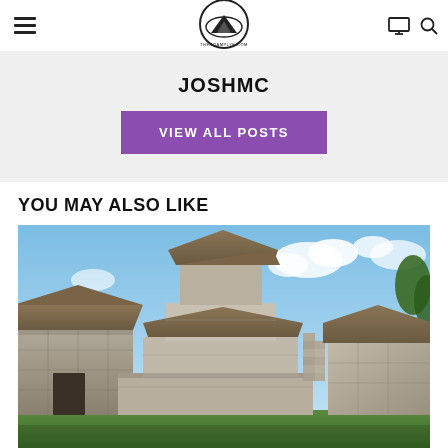Navigation bar with hamburger menu, site logo, monitor icon, and search icon
JOSHMC
VIEW ALL POSTS
YOU MAY ALSO LIKE
[Figure (photo): Photograph of ancient Mayan ruins with stone structures, thatched roofs, and steps under a partly cloudy sky]